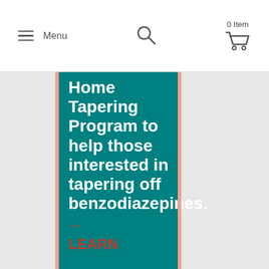Menu | [search] | 0 Item [cart]
Home Tapering Program to help those interested in tapering off benzodiazepines.
→ LEARN